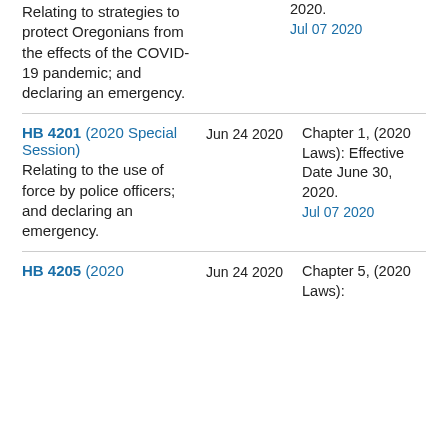Relating to strategies to protect Oregonians from the effects of the COVID-19 pandemic; and declaring an emergency.
2020. Jul 07 2020
HB 4201 (2020 Special Session) Relating to the use of force by police officers; and declaring an emergency.
Jun 24 2020
Chapter 1, (2020 Laws): Effective Date June 30, 2020. Jul 07 2020
HB 4205 (2020
Jun 24 2020
Chapter 5, (2020 Laws):